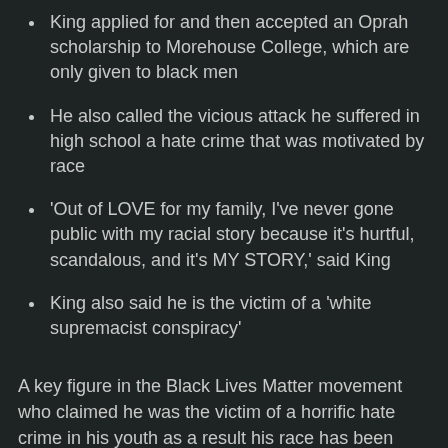King applied for and then accepted an Oprah scholarship to Morehouse College, which are only given to black men
He also called the vicious attack he suffered in high school a hate crime that was motivated by race
'Out of LOVE for my family, I've never gone public with my racial story because it's hurtful, scandalous, and it's MY STORY,' said King
King also said he is the victim of a 'white supremacist conspiracy'
A key figure in the Black Lives Matter movement who claimed he was the victim of a horrific hate crime in his youth as a result his race has been outed as white.